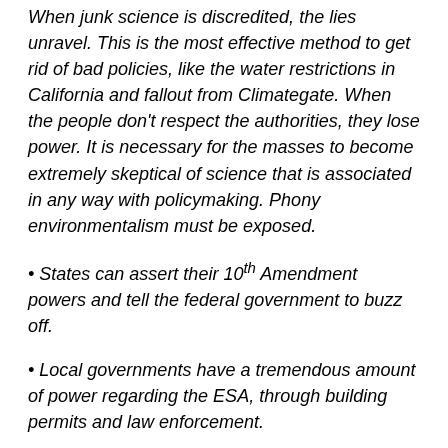When junk science is discredited, the lies unravel. This is the most effective method to get rid of bad policies, like the water restrictions in California and fallout from Climategate. When the people don't respect the authorities, they lose power. It is necessary for the masses to become extremely skeptical of science that is associated in any way with policymaking. Phony environmentalism must be exposed.
States can assert their 10th Amendment powers and tell the federal government to buzz off.
Local governments have a tremendous amount of power regarding the ESA, through building permits and law enforcement.
For example, in Iron County, Utah, the federal government claims that prairie dogs are 'endangered'. It is not true.